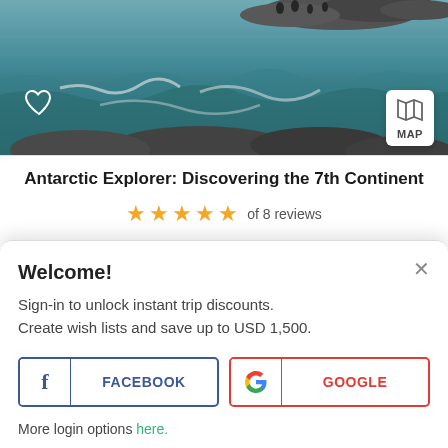[Figure (photo): Aerial/wide view of Antarctic rocky coastline with ocean waves and water, with penguins visible on rocks in background]
Antarctic Explorer: Discovering the 7th Continent
★★★★★ of 8 reviews
✓ E-ticket  ✓ Best price guaranteed
| Days | Saving | From US$ 9,695 |
| --- | --- | --- |
Welcome!
Sign-in to unlock instant trip discounts.
Create wish lists and save up to USD 1,500.
FACEBOOK
GOOGLE
More login options here.